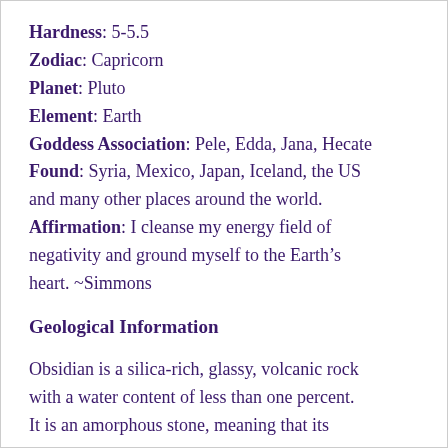Hardness: 5-5.5
Zodiac: Capricorn
Planet: Pluto
Element: Earth
Goddess Association: Pele, Edda, Jana, Hecate
Found: Syria, Mexico, Japan, Iceland, the US and many other places around the world.
Affirmation: I cleanse my energy field of negativity and ground myself to the Earth’s heart. ~Simmons
Geological Information
Obsidian is a silica-rich, glassy, volcanic rock with a water content of less than one percent. It is an amorphous stone, meaning that its